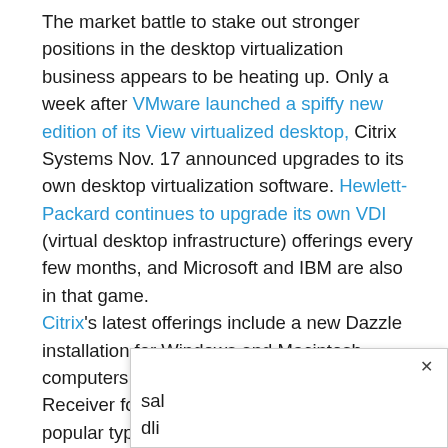The market battle to stake out stronger positions in the desktop virtualization business appears to be heating up. Only a week after VMware launched a spiffy new edition of its View virtualized desktop, Citrix Systems Nov. 17 announced upgrades to its own desktop virtualization software. Hewlett-Packard continues to upgrade its own VDI (virtual desktop infrastructure) offerings every few months, and Microsoft and IBM are also in that game. Citrix's latest offerings include a new Dazzle installation for Windows and Macintosh computers and new versions of Citrix Receiver for Windows and Mac-plus three popular types of handhelds: iPhone, BlackBerry and Android. Dazzle is a user application that works with Citrix's XenDesktop and runs on any Windows or Mac computer. It serves as a sort of home page for all corporate applications set up for employees in the virtual desktop system. Citrix Re[popup overlay]sal dli...